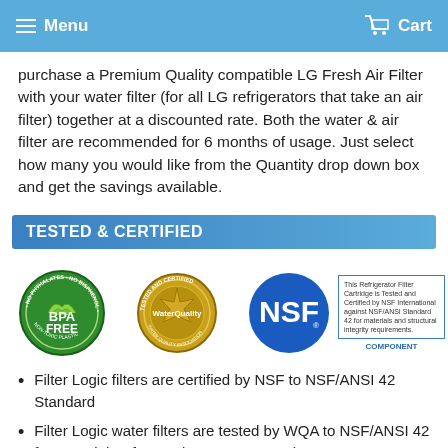Menu   Cart
purchase a Premium Quality compatible LG Fresh Air Filter with your water filter (for all LG refrigerators that take an air filter) together at a discounted rate. Both the water & air filter are recommended for 6 months of usage. Just select how many you would like from the Quantity drop down box and get the savings available.
TESTED & CERTIFIED
[Figure (logo): Three certification badges: BPA FREE green circular badge, Water Quality gold circular badge (Tested and Certified), and NSF blue circular badge with text box stating 'This Refrigerator Filter Cartridge is Tested and Certified by NSF International against NSF/ANSI Standard 42 for materials and structural integrity requirements. COMPONENT']
Filter Logic filters are certified by NSF to NSF/ANSI 42 Standard
Filter Logic water filters are tested by WQA to NSF/ANSI 42 for Material Safety and Structure Integrity.
Tested against NSF/ANSI 42 for Chlorine Reduction. Tested and